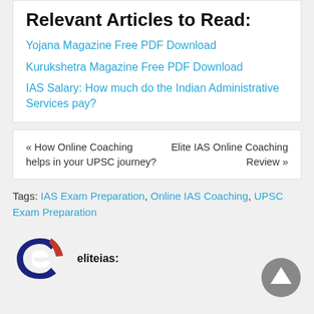Relevant Articles to Read:
Yojana Magazine Free PDF Download
Kurukshetra Magazine Free PDF Download
IAS Salary: How much do the Indian Administrative Services pay?
« How Online Coaching helps in your UPSC journey? | Elite IAS Online Coaching Review »
Tags: IAS Exam Preparation, Online IAS Coaching, UPSC Exam Preparation
[Figure (logo): Elite IAS logo — stylized letter e in red and dark blue with author name eliteias:]